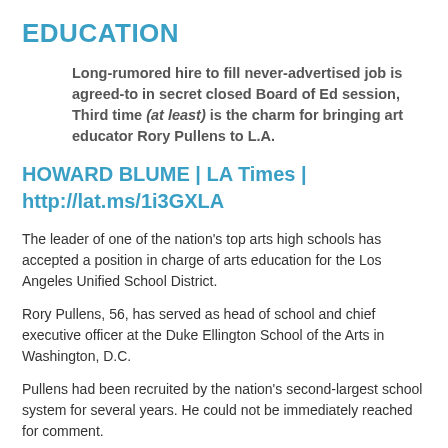EDUCATION
Long-rumored hire to fill never-advertised job is agreed-to in secret closed Board of Ed session, Third time (at least) is the charm for bringing art educator Rory Pullens to L.A.
HOWARD BLUME | LA Times | http://lat.ms/1i3GXLA
The leader of one of the nation's top arts high schools has accepted a position in charge of arts education for the Los Angeles Unified School District.
Rory Pullens, 56, has served as head of school and chief executive officer at the Duke Ellington School of the Arts in Washington, D.C.
Pullens had been recruited by the nation's second-largest school system for several years. He could not be immediately reached for comment.